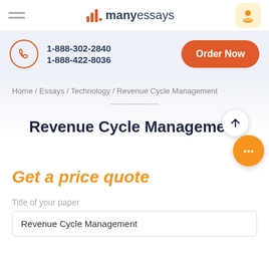manyessays
1-888-302-2840
1-888-422-8036
Order Now
Home / Essays / Technology / Revenue Cycle Management
Revenue Cycle Management
Get a price quote
Title of your paper
Revenue Cycle Management